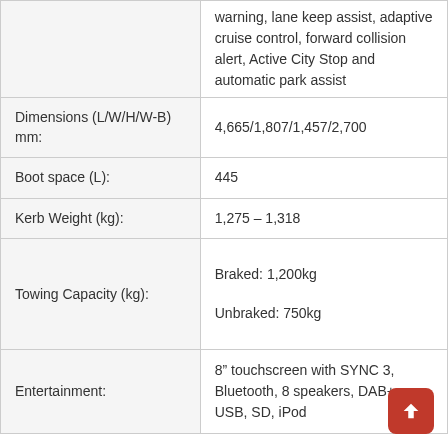| Feature | Value |
| --- | --- |
|  | warning, lane keep assist, adaptive cruise control, forward collision alert, Active City Stop and automatic park assist |
| Dimensions (L/W/H/W-B) mm: | 4,665/1,807/1,457/2,700 |
| Boot space (L): | 445 |
| Kerb Weight (kg): | 1,275 – 1,318 |
| Towing Capacity (kg): | Braked: 1,200kg

Unbraked: 750kg |
| Entertainment: | 8" touchscreen with SYNC 3, Bluetooth, 8 speakers, DAB+, USB, SD, iPod |
Competitors:
Mazda3, Toyota Corolla Sedan, Honda Civic Sedan, Hyundai Elantra, Kia Cerato, Subaru Impreza, Nissan Pulsar, Mitsubishi